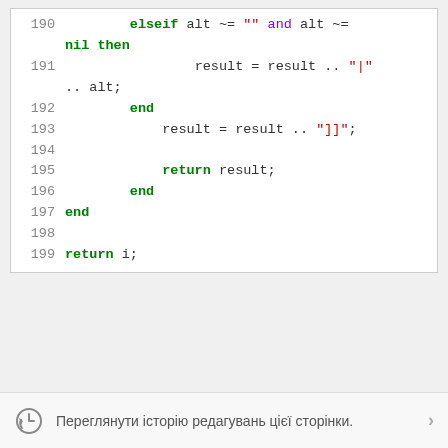[Figure (screenshot): Code snippet showing Lua code lines 190-199 with syntax highlighting. Keywords in green bold, strings in red, operators in dark. Lines: 190: elseif alt ~= "" and alt ~= nil then, 191: result = result .. "|" .. alt;, 192: end, 193: result = result .. "]]";, 194: (empty), 195: return result;, 196: end, 197: end, 198: (empty), 199: return i;]
Переглянути історію редагувань цієї сторінки.